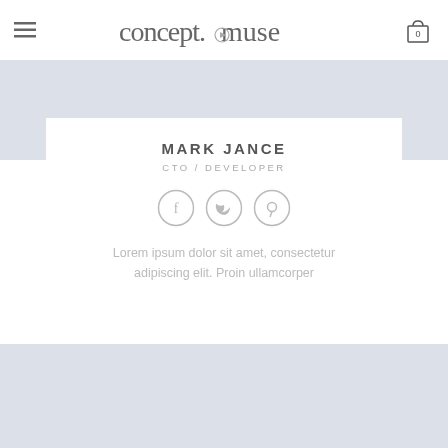concept.muse
[Figure (screenshot): Blue-grey placeholder image area at top]
MARK JANCE
CTO / DEVELOPER
[Figure (illustration): Social media icons: Facebook, Twitter, Pinterest]
Lorem ipsum dolor sit amet, consectetur adipiscing elit. Proin ullamcorper
[Figure (photo): Blue-grey placeholder image area at bottom]